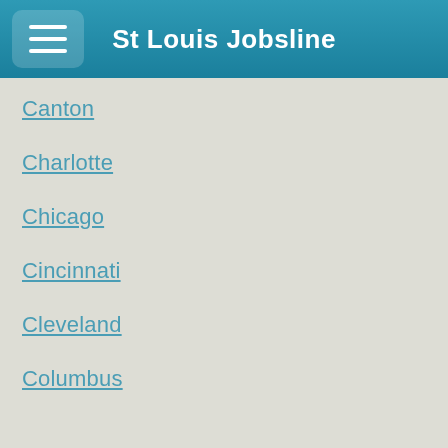St Louis Jobsline
Canton
Charlotte
Chicago
Cincinnati
Cleveland
Columbus
Dallas
Dayton
Denver
Des Moines